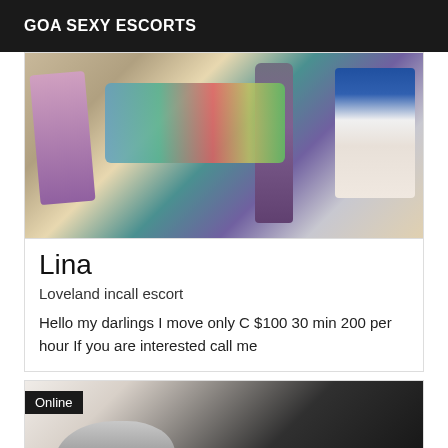GOA SEXY ESCORTS
[Figure (photo): Blurred photo of bathroom/personal care products including bottles, toothbrushes, and a dark bottle on a light surface]
Lina
Loveland incall escort
Hello my darlings I move only C $100 30 min 200 per hour If you are interested call me
[Figure (photo): Photo of a person with gray/white hair, partially visible, against a dark background, with Online badge overlay]